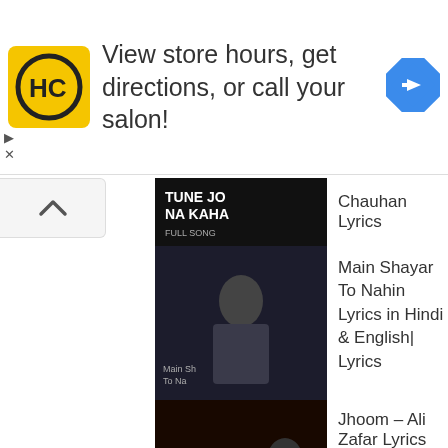[Figure (infographic): Advertisement banner: HC logo (yellow square with HC letters in black circle), text 'View store hours, get directions, or call your salon!', blue navigation/directions diamond icon on right. Play and X buttons on left side.]
Chauhan Lyrics
Main Shayar To Nahin Lyrics in Hindi & English| Lyrics
Jhoom – Ali Zafar Lyrics
Kaisi Teri Khudgharzi OST – Rahat Fateh Ali Khan Lyrics
Mi Single Lyrics – Keval Walani Sonali Sonawano